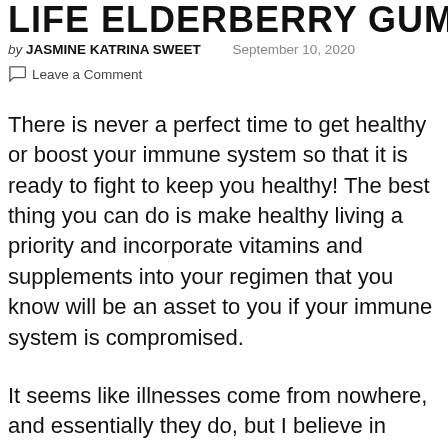LIFE ELDERBERRY GUMMIES
by JASMINE KATRINA SWEET   September 10, 2020
Leave a Comment
There is never a perfect time to get healthy or boost your immune system so that it is ready to fight to keep you healthy! The best thing you can do is make healthy living a priority and incorporate vitamins and supplements into your regimen that you know will be an asset to you if your immune system is compromised.
It seems like illnesses come from nowhere, and essentially they do, but I believe in taking the necessary precautions to be ready to fight it off!  A few years ago, I woke up with a bad case of pneumonia